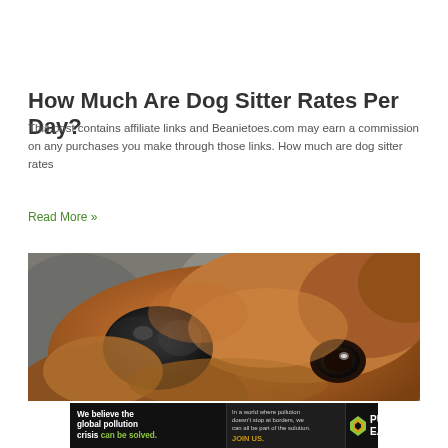How Much Are Dog Sitter Rates Per Day?
This post contains affiliate links and Beanietoes.com may earn a commission on any purchases you make through those links. How much are dog sitter rates
Read More »
[Figure (photo): Close-up photograph of a brown dog lying upside down, nose in foreground, eye visible, warm brown tones with blurred background]
[Figure (infographic): Pure Earth advertisement banner. Black background. Left text: 'We believe the global pollution crisis can be solved.' Middle text: 'In a world where pollution doesn't stop at borders, we can all be part of the solution. JOIN US.' Right side: Pure Earth logo with yellow/green diamond icon and white text 'PURE EARTH']